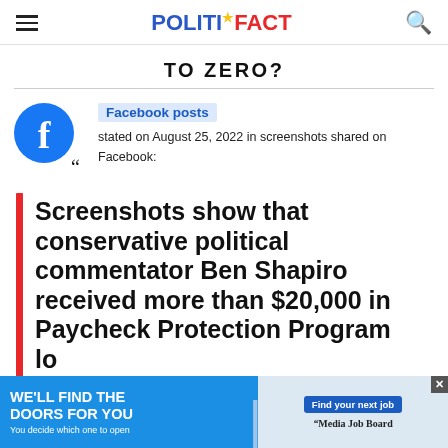POLITIFACT
TO ZERO?
Facebook posts stated on August 25, 2022 in screenshots shared on Facebook:
Screenshots show that conservative political commentator Ben Shapiro received more than $20,000 in Paycheck Protection Program lo...
[Figure (infographic): Advertisement banner: 'WE'LL FIND THE DOORS FOR YOU - You decide which one to open' with Media Job Board logo and 'Find your next job' button]